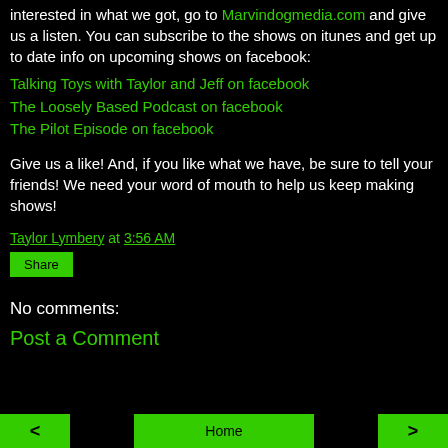interested in what we got, go to Marvindogmedia.com and give us a listen. You can subscribe to the shows on itunes and get up to date info on upcoming shows on facebook:
Talking Toys with Taylor and Jeff on facebook
The Loosely Based Podcast on facebook
The Pilot Episode on facebook
Give us a like! And, if you like what we have, be sure to tell your friends! We need your word of mouth to help us keep making shows!
Taylor Lymbery at 3:56 AM
Share
No comments:
Post a Comment
< Home >